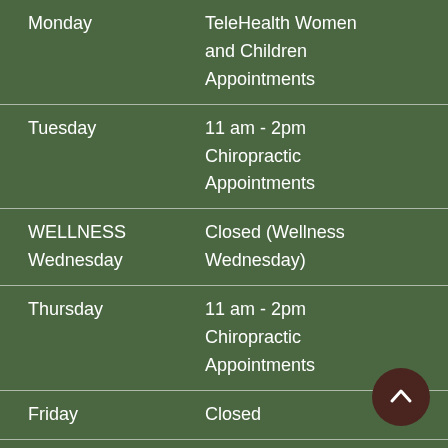| Day | Hours / Notes |
| --- | --- |
| Monday | TeleHealth Women and Children Appointments |
| Tuesday | 11 am - 2pm Chiropractic Appointments |
| WELLNESS Wednesday | Closed (Wellness Wednesday) |
| Thursday | 11 am - 2pm Chiropractic Appointments |
| Friday | Closed |
| Sat, Sun | Closed |